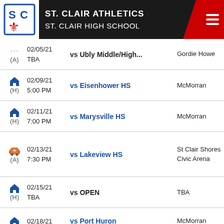ST. CLAIR ATHLETICS ST. CLAIR HIGH SCHOOL
| Icon/Type | Date/Time | Opponent | Venue |
| --- | --- | --- | --- |
| (A) | 02/05/21
TBA | vs Ubly Middle/High... | Gordie Howe |
| (H) | 02/09/21
5:00 PM | vs Eisenhower HS | McMorran |
| (H) | 02/11/21
7:00 PM | vs Marysville HS | McMorran |
| (A) | 02/13/21
7:30 PM | vs Lakeview HS | St Clair Shores Civic Arena |
| (H) | 02/15/21
TBA | vs OPEN | TBA |
| (H) | 02/18/21 | vs Port Huron | McMorran |